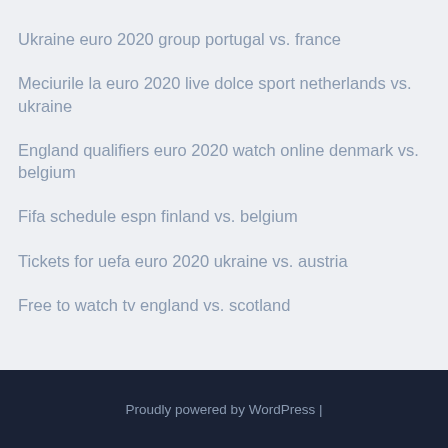Ukraine euro 2020 group portugal vs. france
Meciurile la euro 2020 live dolce sport netherlands vs. ukraine
England qualifiers euro 2020 watch online denmark vs. belgium
Fifa schedule espn finland vs. belgium
Tickets for uefa euro 2020 ukraine vs. austria
Free to watch tv england vs. scotland
Proudly powered by WordPress |